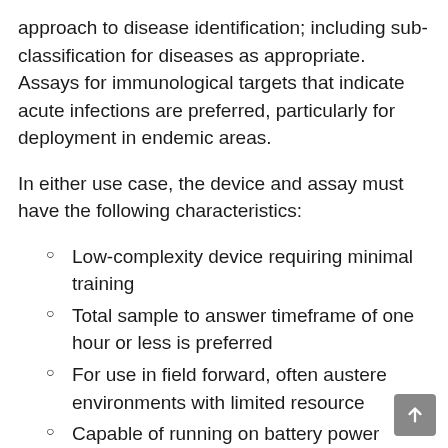approach to disease identification; including sub-classification for diseases as appropriate. Assays for immunological targets that indicate acute infections are preferred, particularly for deployment in endemic areas.
In either use case, the device and assay must have the following characteristics:
Low-complexity device requiring minimal training
Total sample to answer timeframe of one hour or less is preferred
For use in field forward, often austere environments with limited resource
Capable of running on battery power
Capable of entry to telemedicine/remote